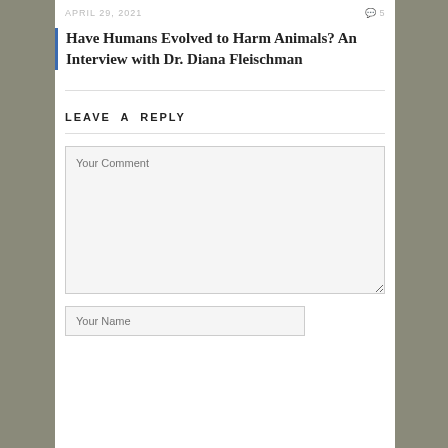APRIL 29, 2021   💬 5
Have Humans Evolved to Harm Animals? An Interview with Dr. Diana Fleischman
LEAVE A REPLY
Your Comment
Your Name